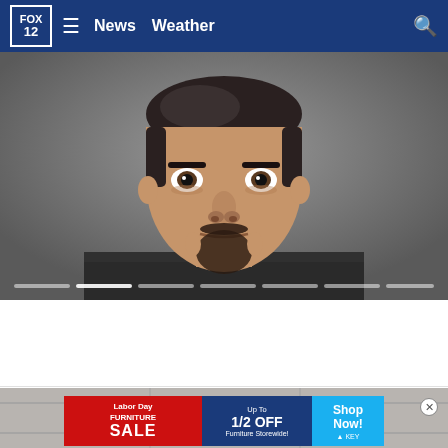FOX 12 | News  Weather
[Figure (photo): Mugshot of a man with dark hair and a goatee beard, wearing a dark vest/jacket, neutral expression, gray background. A progress/chapter indicator bar is visible at the bottom of the image.]
[Figure (photo): Second image partially visible, appears to be a light gray textured wall or surface.]
[Figure (infographic): Labor Day Furniture Sale advertisement banner. Red brush stroke background with 'Labor Day FURNITURE SALE' text on left. Center shows 'Up To 1/2 OFF Furniture Storewide!'. Right section in blue reads 'Shop Now!' with KEY Home Furnishings logo. Close button (X) on far right.]